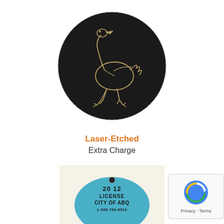[Figure (photo): A round black metal tag with a laser-etched ostrich image on it]
Laser-Etched
Extra Charge
[Figure (photo): A blue metal license tag partially visible reading '2012 LICENSE CITY OF ABQ' with a hole at top]